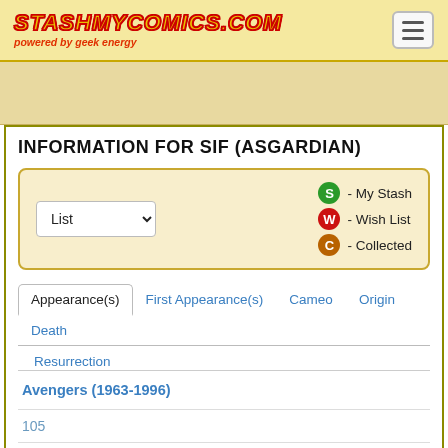StashMyComics.com - powered by geek energy
INFORMATION FOR SIF (ASGARDIAN)
List dropdown | S - My Stash | W - Wish List | C - Collected
Appearance(s)
First Appearance(s)
Cameo
Origin
Death
Resurrection
Avengers (1963-1996)
105
Avengers Prime (2010-2011)
1A  1B  1C  1D  HC